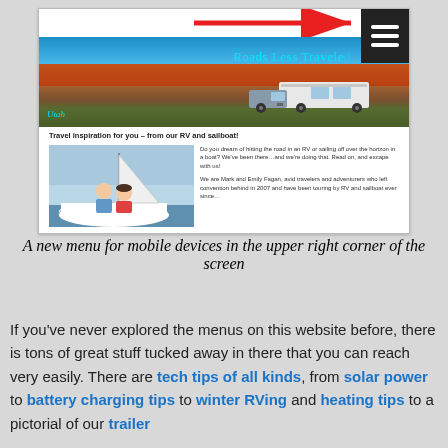[Figure (screenshot): Screenshot of 'Roads Less Traveled' RV/sailboat travel website showing a header image of red rock landscape in Utah with an RV truck, tagline 'Travel inspiration for you – from our RV and sailboat!', a photo of a couple in front of a sailboat named 'groovy', and introductory text. A red arrow points to a hamburger menu icon in the upper right corner.]
A new menu for mobile devices in the upper right corner of the screen
If you've never explored the menus on this website before, there is tons of great stuff tucked away in there that you can reach very easily. There are tech tips of all kinds, from solar power to battery charging tips to winter RVing and heating tips to a pictorial of our trailer